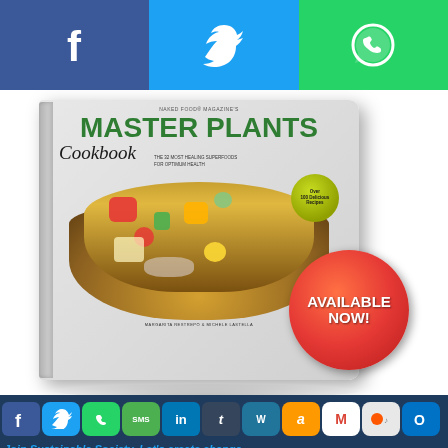[Figure (infographic): Top social share bar with Facebook (blue), Twitter (light blue), WhatsApp (green) icons]
[Figure (photo): Master Plants Cookbook book cover with bowl of quinoa salad, 'AVAILABLE NOW!' red badge. Authors: Margarita Restrepo & Michele Lastella. Published by Naked Food Magazine.]
[Figure (infographic): Bottom social sharing toolbar with icons: Facebook, Twitter, WhatsApp, SMS, LinkedIn, Tumblr, WordPress, Amazon, Gmail, Reddit, Outlook, plus print and add buttons. Text: Join Sustainable Society. Let's create change.]